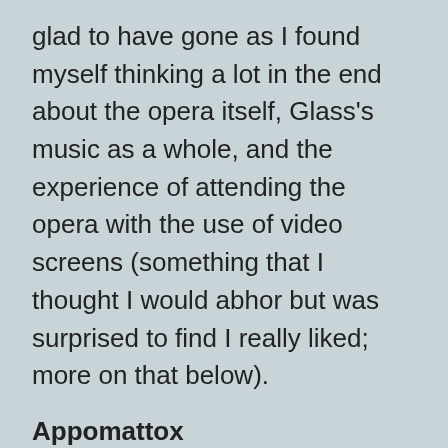glad to have gone as I found myself thinking a lot in the end about the opera itself, Glass's music as a whole, and the experience of attending the opera with the use of video screens (something that I thought I would abhor but was surprised to find I really liked; more on that below).
Appomattox
I found the opening of the opera and the first 2/3 or so of Act I to be the weakest part of the work. The women singers weren't particularly strong and that there were many of them with